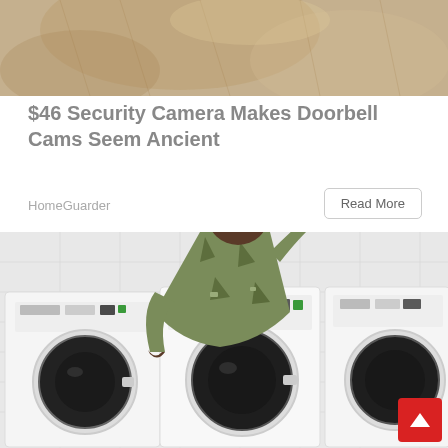[Figure (photo): Top portion of an advertisement image, showing what appears to be a textured surface or fabric, cropped at the top of the page.]
$46 Security Camera Makes Doorbell Cams Seem Ancient
HomeGuarder
Read More
[Figure (photo): A soldier in camouflage uniform and cap leaning over a front-load washing machine in a laundry room, smiling at the camera.]